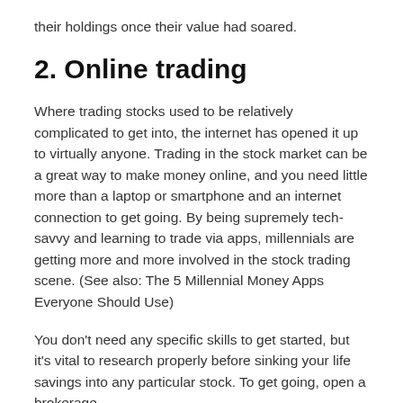their holdings once their value had soared.
2. Online trading
Where trading stocks used to be relatively complicated to get into, the internet has opened it up to virtually anyone. Trading in the stock market can be a great way to make money online, and you need little more than a laptop or smartphone and an internet connection to get going. By being supremely tech-savvy and learning to trade via apps, millennials are getting more and more involved in the stock trading scene. (See also: The 5 Millennial Money Apps Everyone Should Use)
You don't need any specific skills to get started, but it's vital to research properly before sinking your life savings into any particular stock. To get going, open a brokerage